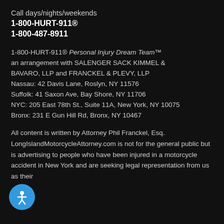Call days/nights/weekends
1-800-HURT-911®
1-800-487-8911
1-800-HURT-911® Personal Injury Dream Team™ an arrangement with SALENGER SACK KIMMEL & BAVARO, LLP and FRANCKEL & PLEVY, LLP Nassau: 42 Davis Lane, Roslyn, NY 11576 Suffolk: 41 Saxon Ave, Bay Shore, NY 11706 NYC: 205 East 78th St., Suite 11A, New York, NY 10075 Bronx: 231 E Gun Hill Rd, Bronx, NY 10467
All content is written by Attorney Phil Franckel, Esq. LongIslandMotorcycleAttorney.com is not for the general public but is advertising to people who have been injured in a motorcycle accident in New York and are seeking legal representation from us as their